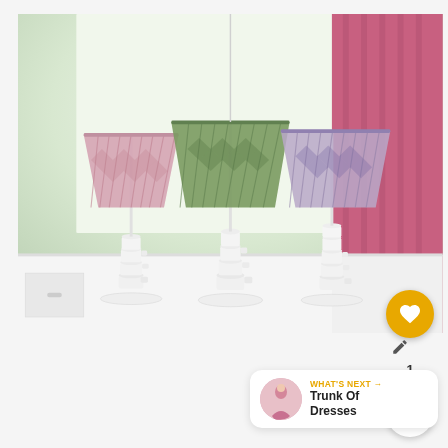[Figure (photo): Three decorative table lamps made from stacked white teacups/mugs as the base, each topped with a pleated fabric lampshade in different colors: pink/rose on the left, olive green in the center, and lavender/light purple on the right. The lamps are displayed on a white surface near a window, with a pink curtain visible on the right side.]
[Figure (infographic): UI overlay elements: a circular gold/yellow heart (favorite) button with a heart icon and count of 1, and a white circular share button with a share icon.]
1
WHAT'S NEXT → Trunk Of Dresses